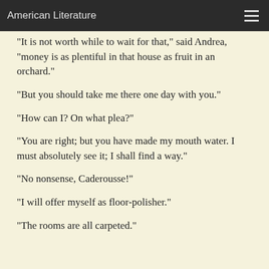American Literature
"It is not worth while to wait for that," said Andrea, "money is as plentiful in that house as fruit in an orchard."
"But you should take me there one day with you."
"How can I? On what plea?"
"You are right; but you have made my mouth water. I must absolutely see it; I shall find a way."
"No nonsense, Caderousse!"
"I will offer myself as floor-polisher."
"The rooms are all carpeted."